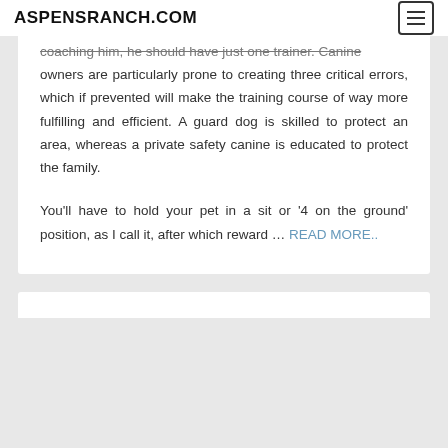ASPENSRANCH.COM
coaching him, he should have just one trainer. Canine owners are particularly prone to creating three critical errors, which if prevented will make the training course of way more fulfilling and efficient. A guard dog is skilled to protect an area, whereas a private safety canine is educated to protect the family.
You’ll have to hold your pet in a sit or ‘4 on the ground’ position, as I call it, after which reward … READ MORE..